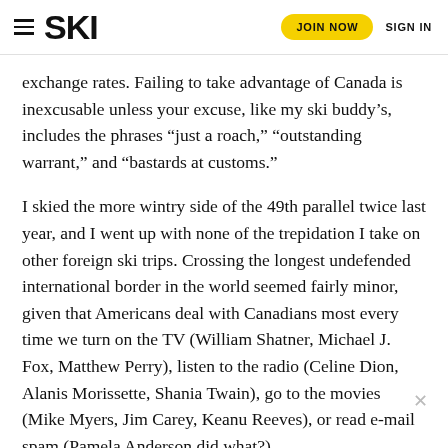SKI | JOIN NOW | SIGN IN
exchange rates. Failing to take advantage of Canada is inexcusable unless your excuse, like my ski buddy’s, includes the phrases “just a roach,” “outstanding warrant,” and “bastards at customs.”
I skied the more wintry side of the 49th parallel twice last year, and I went up with none of the trepidation I take on other foreign ski trips. Crossing the longest undefended international border in the world seemed fairly minor, given that Americans deal with Canadians most every time we turn on the TV (William Shatner, Michael J. Fox, Matthew Perry), listen to the radio (Celine Dion, Alanis Morissette, Shania Twain), go to the movies (Mike Myers, Jim Carey, Keanu Reeves), or read e-mail spam (Pamela Anderson did what?).
But high culture aside, Canada is not simply a colder version of